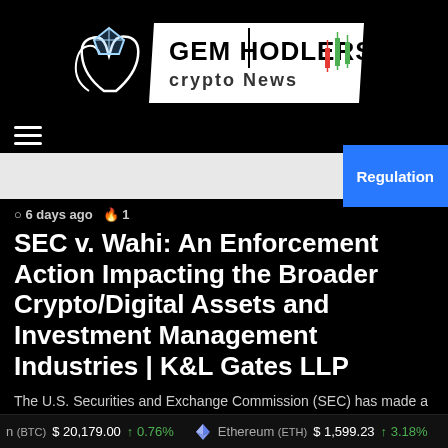[Figure (logo): GEM HODLERS Crypto News logo with gem/hands icon and candlestick chart graphic on white parallelogram background, dark background]
[Figure (other): Hamburger menu icon (three horizontal lines)]
Regulation
6 days ago  1
SEC v. Wahi: An Enforcement Action Impacting the Broader Crypto/Digital Assets and Investment Management Industries | K&L Gates LLP
The U.S. Securities and Exchange Commission (SEC) has made a new crypto move—and its impact is broad. Background On 21...
Read More »
n (BTC)  $ 20,179.00  ↑ 0.76%    Ethereum (ETH)  $ 1,599.23  ↑ 3.18%